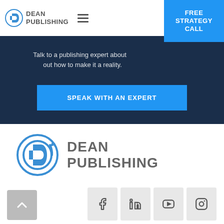[Figure (screenshot): Dean Publishing website screenshot showing navigation bar with logo and hamburger menu, a Free Strategy Call button in blue, hero section with dark navy background containing partial text 'Talk to a publishing expert about... out how to make it a reality.', a blue SPEAK WITH AN EXPERT button, the Dean Publishing logo in a white footer section, a scroll-to-top button, and social media icons for Facebook, LinkedIn, YouTube, and Instagram]
DEAN PUBLISHING
FREE STRATEGY CALL
Talk to a publishing expert about... out how to make it a reality.
SPEAK WITH AN EXPERT
[Figure (logo): Dean Publishing logo - large version with blue circular arrow/D icon and gray DEAN PUBLISHING text]